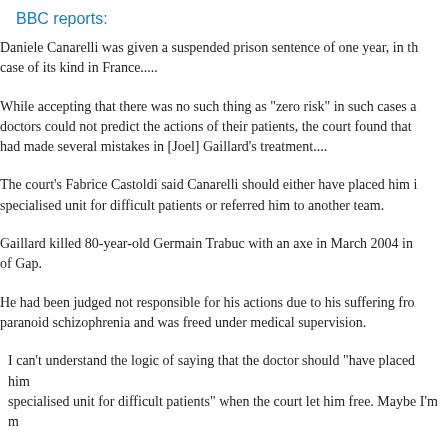BBC reports:
Daniele Canarelli was given a suspended prison sentence of one year, in the case of its kind in France.....
While accepting that there was no such thing as "zero risk" in such cases and doctors could not predict the actions of their patients, the court found that had made several mistakes in [Joel] Gaillard's treatment....
The court's Fabrice Castoldi said Canarelli should either have placed him in a specialised unit for difficult patients or referred him to another team.
Gaillard killed 80-year-old Germain Trabuc with an axe in March 2004 in of Gap.
He had been judged not responsible for his actions due to his suffering from paranoid schizophrenia and was freed under medical supervision.
I can't understand the logic of saying that the doctor should "have placed him in a specialised unit for difficult patients" when the court let him free. Maybe I'm m...